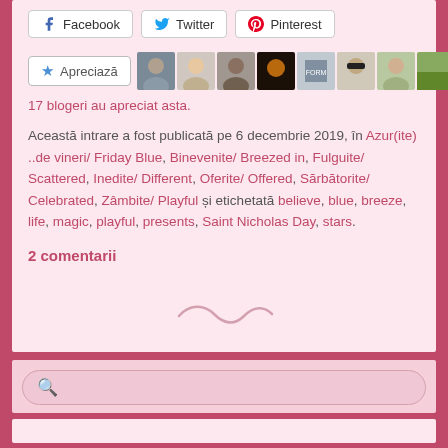Facebook  Twitter  Pinterest
[Figure (other): Appreciate button with star icon followed by a strip of 9 avatar/profile photos of bloggers]
17 blogeri au apreciat asta.
Această intrare a fost publicată pe 6 decembrie 2019, în Azur(ite) ..de vineri/ Friday Blue, Binevenite/ Breezed in, Fulguite/ Scattered, Inedite/ Different, Oferite/ Offered, Sărbătorite/ Celebrated, Zâmbite/ Playful și etichetată believe, blue, breeze, life, magic, playful, presents, Saint Nicholas Day, stars.
2 comentarii
[Figure (illustration): Decorative swirl/tilde ornament in light pink]
[Figure (other): Search bar with magnifying glass icon on pink background]